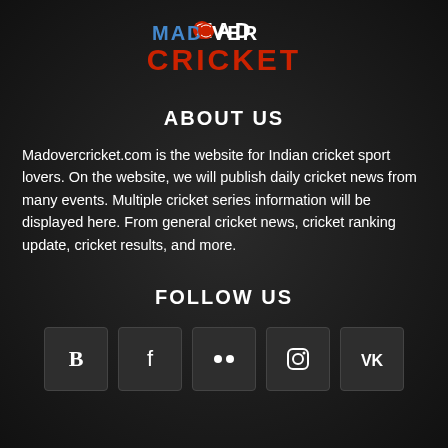[Figure (logo): Mad Over Cricket logo with red cricket ball as the 'O' in MAD, text 'MAD OVER' in blue/white and 'CRICKET' in red bold letters]
ABOUT US
Madovercricket.com is the website for Indian cricket sport lovers. On the website, we will publish daily cricket news from many events. Multiple cricket series information will be displayed here. From general cricket news, cricket ranking update, cricket results, and more.
FOLLOW US
[Figure (infographic): Five social media icon buttons in dark square boxes: Blogger (B), Facebook (f), Flickr (two dots), Instagram (circle/camera), VK (VK logo)]